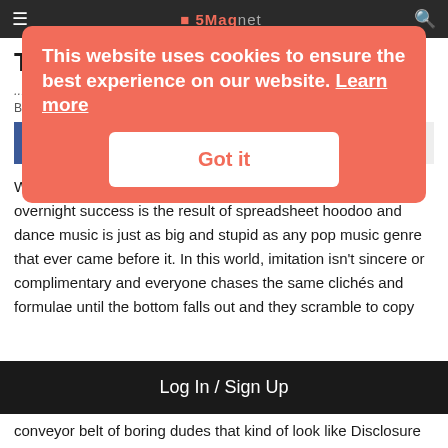5Mag
Taoldo are Mystical Institute
...eal.
By Terry Matthew · September 5, 2017
[Figure (other): Facebook and Twitter share buttons, plus more button]
We live in a world where almost nothing is left to chance, overnight success is the result of spreadsheet hoodoo and dance music is just as big and stupid as any pop music genre that ever came before it. In this world, imitation isn't sincere or complimentary and everyone chases the same clichés and formulae until the bottom falls out and they scramble to copy
Log In / Sign Up
conveyor belt of boring dudes that kind of look like Disclosure
This website uses cookies to ensure the best experience on our website. Learn more
Got it